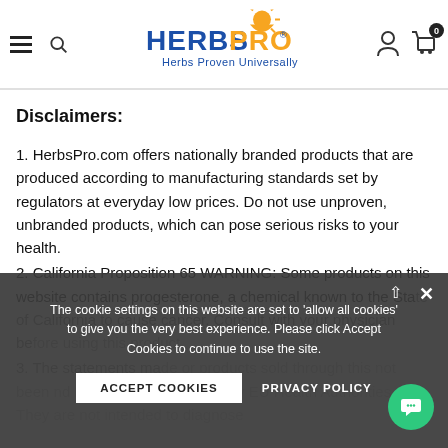HerbsPro - Herbs Proven Universally
Disclaimers:
1. HerbsPro.com offers nationally branded products that are produced according to manufacturing standards set by regulators at everyday low prices. Do not use unproven, unbranded products, which can pose serious risks to your health.
2. California Proposition 65 WARNING: Some products on this website contains progesterone, a chemical known to the State of California to cause cancer. Consult with your physician before using this product.
3. The statements made or products sold through this website have not been evaluated by the Food and Drug Administration (FDA) or by EU Health Authorities. They are not intended to diagnose...
The cookie settings on this website are set to 'allow all cookies' to give you the very best experience. Please click Accept Cookies to continue to use the site.